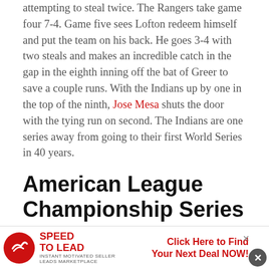attempting to steal twice. The Rangers take game four 7-4. Game five sees Lofton redeem himself and put the team on his back. He goes 3-4 with two steals and makes an incredible catch in the gap in the eighth inning off the bat of Greer to save a couple runs. With the Indians up by one in the top of the ninth, Jose Mesa shuts the door with the tying run on second. The Indians are one series away from going to their first World Series in 40 years.
American League Championship Series
The Yankees host the Indians for the ALCS.
Game One: Key takes on Nagy in the Bronx. Nagy holds his own in the beginning, but Key absolutely
[Figure (infographic): Advertisement banner for Speed to Lead - Instant Motivated Seller Leads Marketplace. Red circular logo with checkmark/swoosh. Bold red text: SPEED TO LEAD. Subtext: INSTANT MOTIVATED SELLER LEADS MARKETPLACE. Right side red text: Click Here to Find Your Next Deal NOW!]